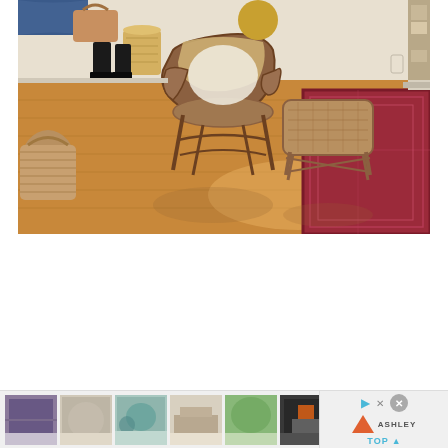[Figure (photo): Interior room photo showing warm honey-toned hardwood floors with a rattan/bamboo chair and footstool in the center, a red patterned area rug on the right, wicker baskets and boots on the left side, and a bookshelf partially visible on the right.]
[Figure (screenshot): Thumbnail strip at the bottom showing 6 small rug/room preview images, an Ashley Furniture advertisement with play button and close button, and a TOP navigation indicator.]